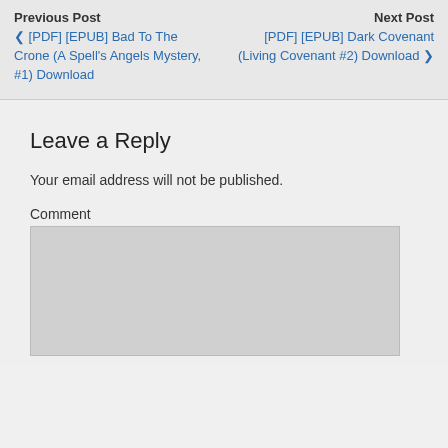Previous Post
Next Post
❮ [PDF] [EPUB] Bad To The Crone (A Spell's Angels Mystery, #1) Download
[PDF] [EPUB] Dark Covenant (Living Covenant #2) Download ❯
Leave a Reply
Your email address will not be published.
Comment